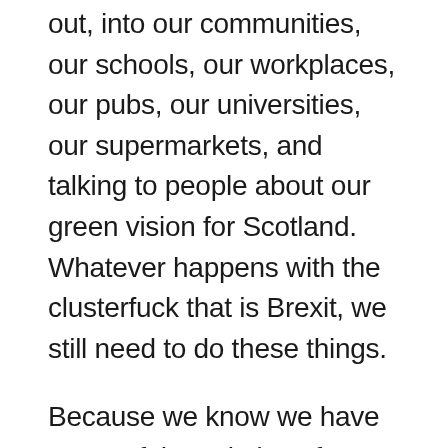out, into our communities, our schools, our workplaces, our pubs, our universities, our supermarkets, and talking to people about our green vision for Scotland. Whatever happens with the clusterfuck that is Brexit, we still need to do these things.
Because we know we have some of the solutions for a more equal, more open, more sustainable world. We have those messages of hope. And at a time when everything seems so unimaginably gloomy, hope is our strongest weapon. To borrow a phrase: let's live as if we're in the early days of a better Europe.